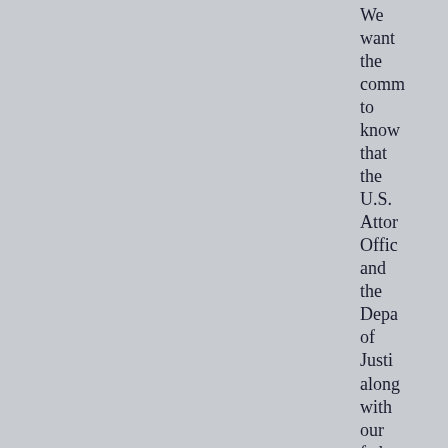We want the community to know that the U.S. Attorney Office and the Department of Justice along with our federal state and